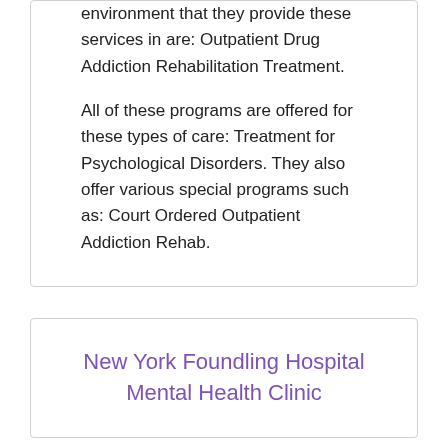environment that they provide these services in are: Outpatient Drug Addiction Rehabilitation Treatment.
All of these programs are offered for these types of care: Treatment for Psychological Disorders. They also offer various special programs such as: Court Ordered Outpatient Addiction Rehab.
New York Foundling Hospital Mental Health Clinic
New York Foundling Hospital Mental Health Clinic is based in New York, New York -